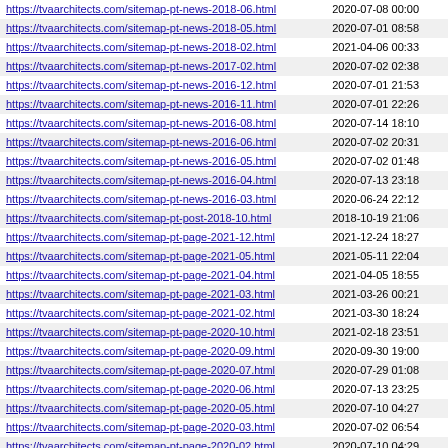| https://tvaarchitects.com/sitemap-pt-news-2018-06.html | 2020-07-08 00:00 |
| https://tvaarchitects.com/sitemap-pt-news-2018-05.html | 2020-07-01 08:58 |
| https://tvaarchitects.com/sitemap-pt-news-2018-02.html | 2021-04-06 00:33 |
| https://tvaarchitects.com/sitemap-pt-news-2017-02.html | 2020-07-02 02:38 |
| https://tvaarchitects.com/sitemap-pt-news-2016-12.html | 2020-07-01 21:53 |
| https://tvaarchitects.com/sitemap-pt-news-2016-11.html | 2020-07-01 22:26 |
| https://tvaarchitects.com/sitemap-pt-news-2016-08.html | 2020-07-14 18:10 |
| https://tvaarchitects.com/sitemap-pt-news-2016-06.html | 2020-07-02 20:31 |
| https://tvaarchitects.com/sitemap-pt-news-2016-05.html | 2020-07-02 01:48 |
| https://tvaarchitects.com/sitemap-pt-news-2016-04.html | 2020-07-13 23:18 |
| https://tvaarchitects.com/sitemap-pt-news-2016-03.html | 2020-06-24 22:12 |
| https://tvaarchitects.com/sitemap-pt-post-2018-10.html | 2018-10-19 21:06 |
| https://tvaarchitects.com/sitemap-pt-page-2021-12.html | 2021-12-24 18:27 |
| https://tvaarchitects.com/sitemap-pt-page-2021-05.html | 2021-05-11 22:04 |
| https://tvaarchitects.com/sitemap-pt-page-2021-04.html | 2021-04-05 18:55 |
| https://tvaarchitects.com/sitemap-pt-page-2021-03.html | 2021-03-26 00:21 |
| https://tvaarchitects.com/sitemap-pt-page-2021-02.html | 2021-03-30 18:24 |
| https://tvaarchitects.com/sitemap-pt-page-2020-10.html | 2021-02-18 23:51 |
| https://tvaarchitects.com/sitemap-pt-page-2020-09.html | 2020-09-30 19:00 |
| https://tvaarchitects.com/sitemap-pt-page-2020-07.html | 2020-07-29 01:08 |
| https://tvaarchitects.com/sitemap-pt-page-2020-06.html | 2020-07-13 23:25 |
| https://tvaarchitects.com/sitemap-pt-page-2020-05.html | 2020-07-10 04:27 |
| https://tvaarchitects.com/sitemap-pt-page-2020-03.html | 2020-07-02 06:54 |
| https://tvaarchitects.com/sitemap-pt-page-2020-02.html | 2020-07-10 04:29 |
| https://tvaarchitects.com/sitemap-pt-page-2020-01.html | 2020-07-10 04:30 |
| https://tvaarchitects.com/sitemap-pt-page-2019-12.html | 2020-07-18 00:51 |
| https://tvaarchitects.com/sitemap-pt-page-2019-08.html | 2020-07-10 04:34 |
| https://tvaarchitects.com/sitemap-pt-page-2019-05.html | 2020-07-10 04:37 |